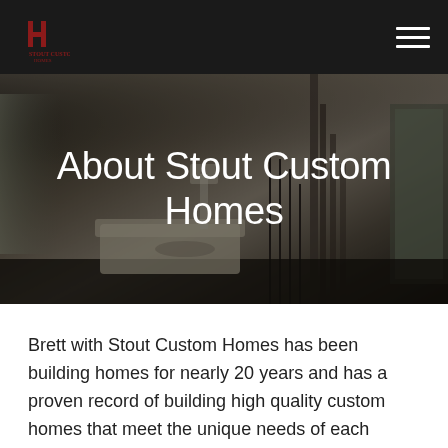Stout Custom Homes — Navigation bar with logo and hamburger menu
[Figure (photo): Interior photo of a custom home showing a living room with high ceilings, staircase with iron railings, large windows, white sofa, and warm wood tones, overlaid with dark tint]
About Stout Custom Homes
Brett with Stout Custom Homes has been building homes for nearly 20 years and has a proven record of building high quality custom homes that meet the unique needs of each family for whom he builds. Brett ensures an excellent finished product, a smooth building process, and high customer satisfaction by